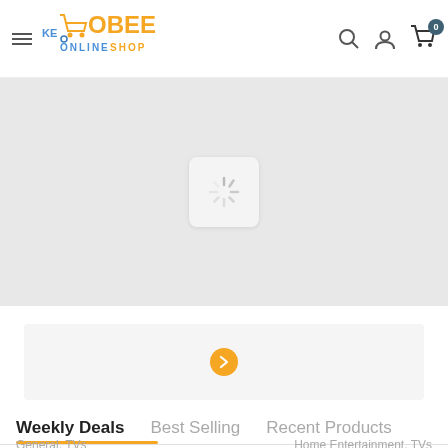[Figure (logo): Kebobee Online Shop logo with shopping cart icon, orange and blue colors]
[Figure (screenshot): Hero banner area showing a loading spinner on grey background]
[Figure (screenshot): Promo/ad strip with orange right-arrow circle button on light grey background]
Weekly Deals   Best Selling   Recent Products
General, TVs   Home Entertainment, TVs